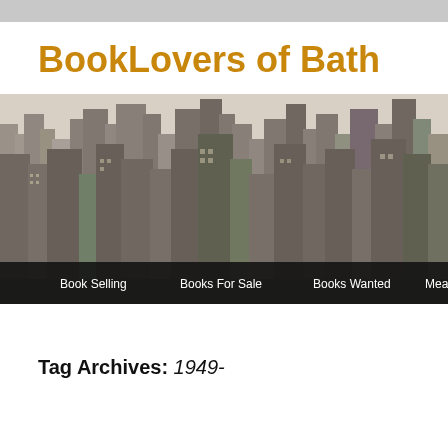BookLovers of Bath
[Figure (photo): Black and white aerial photograph of a dense urban skyline with skyscrapers, with a dark navigation bar overlay at the bottom containing menu items: Book Selling, Books For Sale, Books Wanted, Meanlingess Driv]
Tag Archives: 1949-